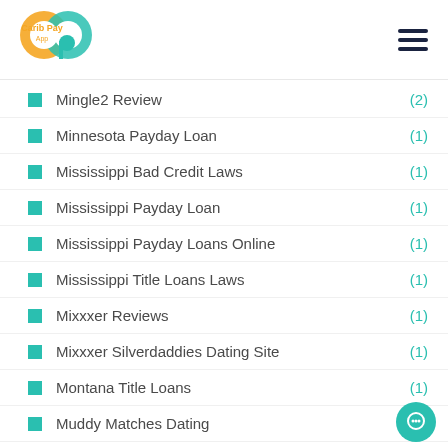Carib Pay App
Mingle2 Review (2)
Minnesota Payday Loan (1)
Mississippi Bad Credit Laws (1)
Mississippi Payday Loan (1)
Mississippi Payday Loans Online (1)
Mississippi Title Loans Laws (1)
Mixxxer Reviews (1)
Mixxxer Silverdaddies Dating Site (1)
Montana Title Loans (1)
Muddy Matches Dating (1)
Muslim Brides (1)